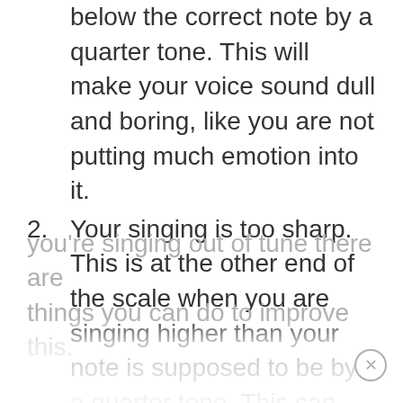below the correct note by a quarter tone. This will make your voice sound dull and boring, like you are not putting much emotion into it.
2. Your singing is too sharp. This is at the other end of the scale when you are singing higher than your note is supposed to be by a quarter tone. This can sometimes be difficult to listen to for your audience.
Neither of these is something you want as they won't sound good. Thankfully, if you're singing out of tune there are things you can do to improve this.